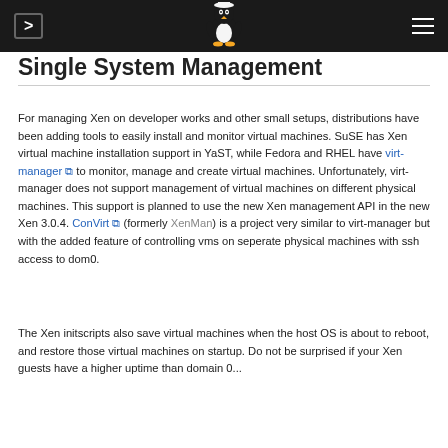Single System Management
Single System Management
For managing Xen on developer works and other small setups, distributions have been adding tools to easily install and monitor virtual machines. SuSE has Xen virtual machine installation support in YaST, while Fedora and RHEL have virt-manager to monitor, manage and create virtual machines. Unfortunately, virt-manager does not support management of virtual machines on different physical machines. This support is planned to use the new Xen management API in the new Xen 3.0.4. ConVirt (formerly XenMan) is a project very similar to virt-manager but with the added feature of controlling vms on seperate physical machines with ssh access to dom0.
The Xen initscripts also save virtual machines when the host OS is about to reboot, and restore those virtual machines on startup. Do not be surprised if your Xen guests have a higher uptime than domain 0...